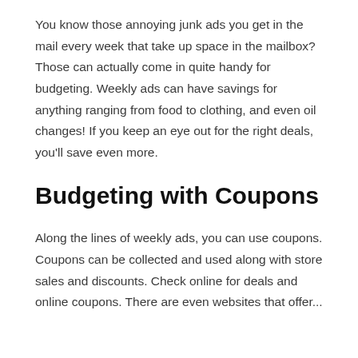You know those annoying junk ads you get in the mail every week that take up space in the mailbox? Those can actually come in quite handy for budgeting. Weekly ads can have savings for anything ranging from food to clothing, and even oil changes! If you keep an eye out for the right deals, you'll save even more.
Budgeting with Coupons
Along the lines of weekly ads, you can use coupons. Coupons can be collected and used along with store sales and discounts. Check online for deals and online coupons. There are even websites that offer...